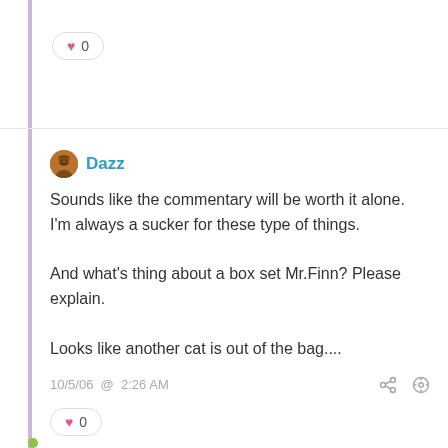♥ 0
Dazz
Sounds like the commentary will be worth it alone. I'm always a sucker for these type of things.

And what's thing about a box set Mr.Finn? Please explain.

Looks like another cat is out of the bag....
10/5/06 @ 2:26 AM
♥ 0